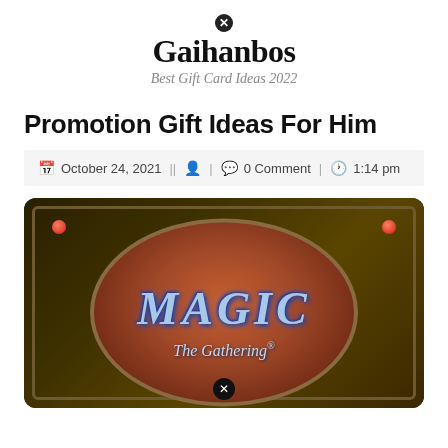Gaihanbos — Best Gift Card Ideas 2022
Promotion Gift Ideas For Him
October 24, 2021 || 0 Comment | 1:14 pm
[Figure (photo): Magic: The Gathering card back artwork showing the iconic brown/tan card back with the MAGIC logo and 'The Gathering' text on a reddish-brown oval, dark border with red dots in upper corners]